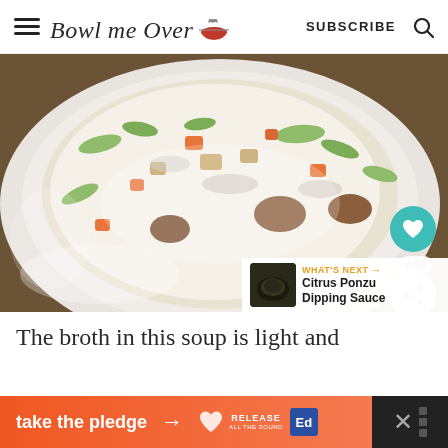Bowl me Over — SUBSCRIBE
[Figure (photo): Close-up photo of a creamy soup in a white bowl with vegetables (celery, carrots, onions), croutons, and chunks of sausage in a light broth. A teal heart/like button showing 440 saves and a share button are overlaid on the bottom-right. A 'WHAT'S NEXT' panel shows Citrus Ponzu Dipping Sauce.]
The broth in this soup is light and
[Figure (other): Orange and dark advertisement banner: 'take the pledge →' with RELEASE and Ed logos, and a close button with X and dots on a dark background.]